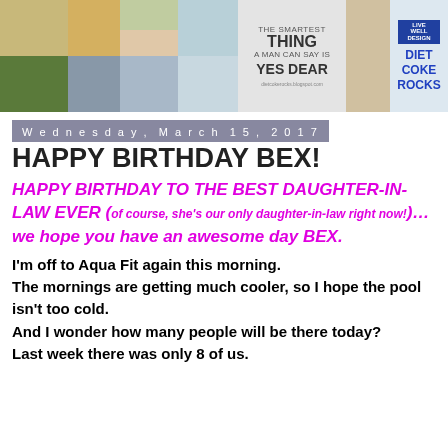[Figure (photo): Blog banner image showing a collage of home décor photos on the left side, a text panel reading 'THE SMARTEST THING A MAN CAN SAY IS YES DEAR', and a logo panel reading 'DIET COKE ROCKS' on the right.]
Wednesday, March 15, 2017
HAPPY BIRTHDAY BEX!
HAPPY BIRTHDAY TO THE BEST DAUGHTER-IN-LAW EVER (of course, she's our only daughter-in-law right now!)... we hope you have an awesome day BEX.
I'm off to Aqua Fit again this morning.
The mornings are getting much cooler, so I hope the pool isn't too cold.
And I wonder how many people will be there today?
Last week there was only 8 of us.